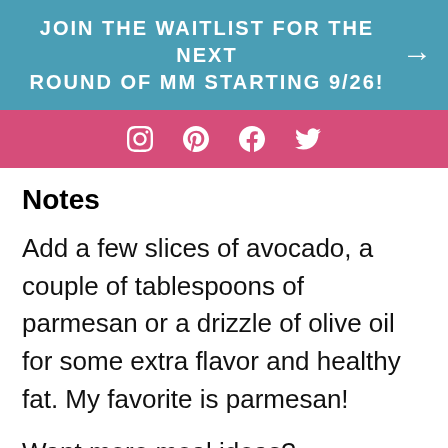JOIN THE WAITLIST FOR THE NEXT ROUND OF MM STARTING 9/26!
[Figure (infographic): Pink bar with social media icons: Instagram, Pinterest, Facebook, Twitter]
Notes
Add a few slices of avocado, a couple of tablespoons of parmesan or a drizzle of olive oil for some extra flavor and healthy fat. My favorite is parmesan!
Want more meal ideas? Download my free 3-Day